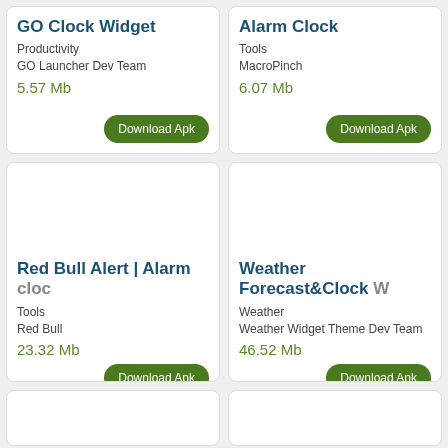GO Clock Widget
Productivity
GO Launcher Dev Team
5.57 Mb
Download Apk
Alarm Clock
Tools
MacroPinch
6.07 Mb
Download Apk
[Figure (other): App screenshot placeholder for Red Bull Alert | Alarm clock app]
Red Bull Alert | Alarm cloc…
Tools
Red Bull
23.32 Mb
Download Apk
[Figure (other): App screenshot placeholder for Weather Forecast&Clock Widget app]
Weather Forecast&Clock W…
Weather
Weather Widget Theme Dev Team
46.52 Mb
Download Apk